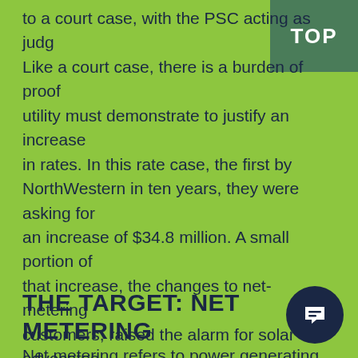to a court case, with the PSC acting as judge. Like a court case, there is a burden of proof a utility must demonstrate to justify an increase in rates. In this rate case, the first by NorthWestern in ten years, they were asking for an increase of $34.8 million. A small portion of that increase, the changes to net-metering customers, raised the alarm for solar advocates.
THE TARGET: NET METERING
Net metering refers to power generating systems that send energy back to the grid when there is an excess. In Montana, this includes about 90% solar, with the remainder being small